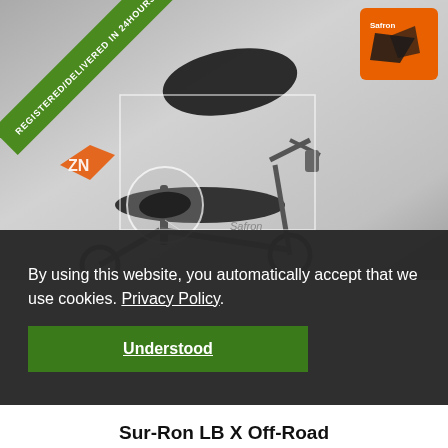[Figure (photo): Electric motorcycle (Sur-Ron LB X Off-Road) product photo with gray gradient background, a rectangular detail callout showing the side mirror zoomed in a circle, a diagonal green banner reading 'REGISTERED/DELIVERED IN 24HOURS', and an orange brand logo in the top right corner.]
By using this website, you automatically accept that we use cookies. Privacy Policy
Understood
Sur-Ron LB X Off-Road